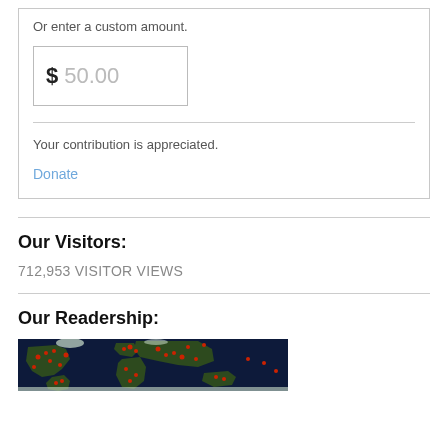Or enter a custom amount.
$ 50.00
Your contribution is appreciated.
Donate
Our Visitors:
712,953 VISITOR VIEWS
Our Readership:
[Figure (map): World map showing visitor locations with red dots marking visitor origins across the globe]